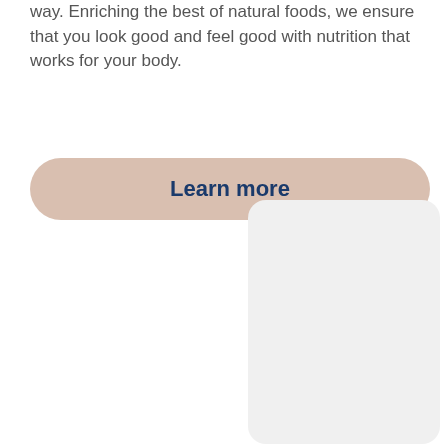way. Enriching the best of natural foods, we ensure that you look good and feel good with nutrition that works for your body.
Learn more
[Figure (illustration): A light gray rounded rectangle placeholder image in the lower right portion of the page.]